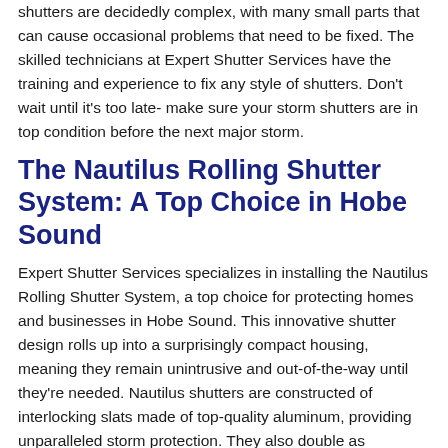shutters are decidedly complex, with many small parts that can cause occasional problems that need to be fixed. The skilled technicians at Expert Shutter Services have the training and experience to fix any style of shutters. Don't wait until it's too late- make sure your storm shutters are in top condition before the next major storm.
The Nautilus Rolling Shutter System: A Top Choice in Hobe Sound
Expert Shutter Services specializes in installing the Nautilus Rolling Shutter System, a top choice for protecting homes and businesses in Hobe Sound. This innovative shutter design rolls up into a surprisingly compact housing, meaning they remain unintrusive and out-of-the-way until they're needed. Nautilus shutters are constructed of interlocking slats made of top-quality aluminum, providing unparalleled storm protection. They also double as protection against break-ins, burglaries, and other human hazards. The Nautilus Rolling Shutter System is available in both motorized and hand-operated models, ideal for both residential and commercial buildings. These shutters are so strong, they've even been tested for protection during missile